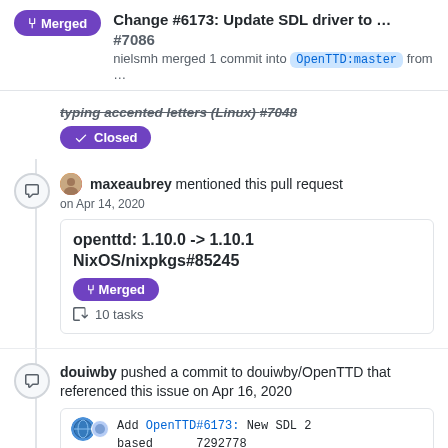Change #6173: Update SDL driver to ... #7086
nielsmh merged 1 commit into OpenTTD:master from ...
typing accented letters (Linux) #7048
Closed
maxeaubrey mentioned this pull request
on Apr 14, 2020
openttd: 1.10.0 -> 1.10.1 NixOS/nixpkgs#85245
Merged
10 tasks
douiwby pushed a commit to douiwby/OpenTTD that referenced this issue on Apr 16, 2020
Add OpenTTD#6173: New SDL 2 based video and sound drivers (OpenTTD#7086)
7292778